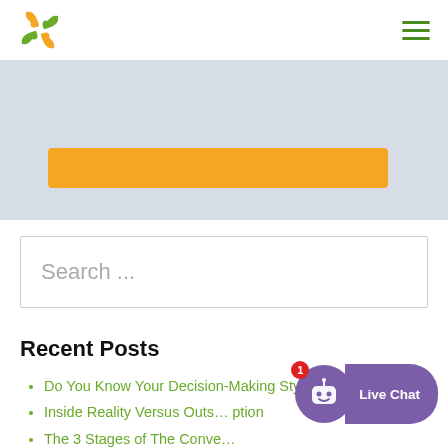[Logo] [Hamburger menu]
[Figure (other): Light blue-grey banner area with an orange button/strip in the center]
Search ...
Recent Posts
Do You Know Your Decision-Making Style?
Inside Reality Versus Outs... ption
The 3 Stages of The Conve...
Take More Deductions for Less Taxable
[Figure (other): Live Chat widget with purple robot icon and badge showing 1 notification]